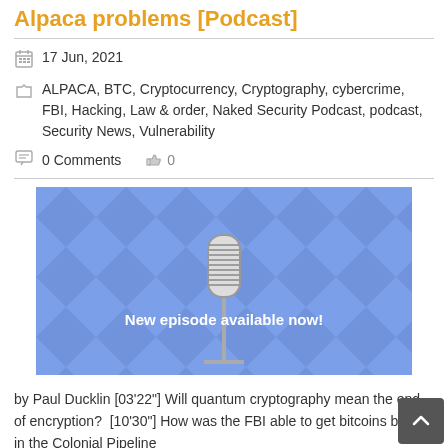Alpaca problems [Podcast]
17 Jun, 2021
ALPACA, BTC, Cryptocurrency, Cryptography, cybercrime, FBI, Hacking, Law & order, Naked Security Podcast, podcast, Security News, Vulnerability
0 Comments   0
[Figure (illustration): Podcast banner: blue diamond-pattern background with a vintage microphone and text 'New episode available now!']
by Paul Ducklin [03'22"] Will quantum cryptography mean the end of encryption?  [10'30"] How was the FBI able to get bitcoins back in the Colonial Pipeline